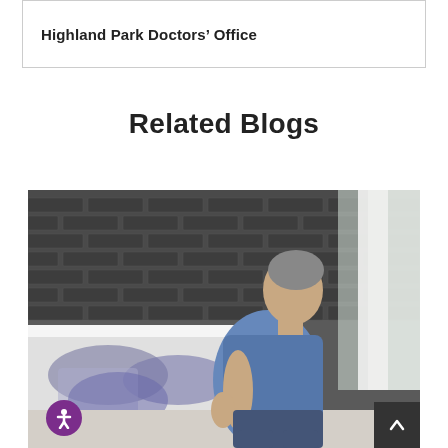Highland Park Doctors’ Office
Related Blogs
[Figure (photo): Middle-aged man in blue t-shirt sitting on edge of bed, arching his back in pain, with brick wall background and white curtains]